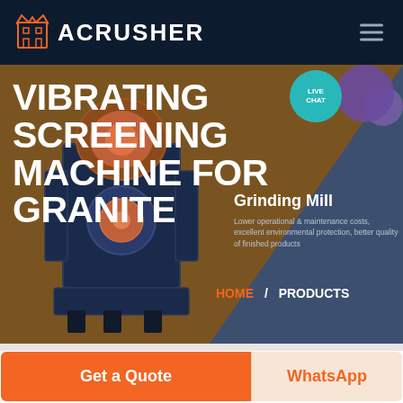ACRUSHER
VIBRATING SCREENING MACHINE FOR GRANITE
Grinding Mill
Lower operational & maintenance costs, excellent environmental protection, better quality of finished products
HOME / PRODUCTS
Get a Quote
WhatsApp